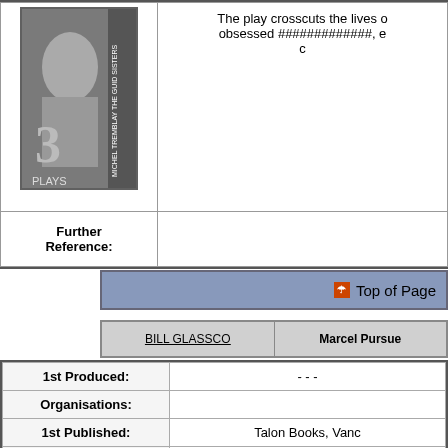[Figure (photo): Book cover of Michel Tremblay 'The Guid Sisters 3 Plays', showing a woman in costume, black and white image]
The play crosscuts the lives of obsessed #############, e c
| Further Reference: |  |
| --- | --- |
Top of Page
| BILL GLASSCO | Marcel Pursue |
| --- | --- |
|  |  |
| --- | --- |
| 1st Produced: | - - - |
| Organisations: |  |
| 1st Published: | Talon Books, Vanc |
| Music: | - |